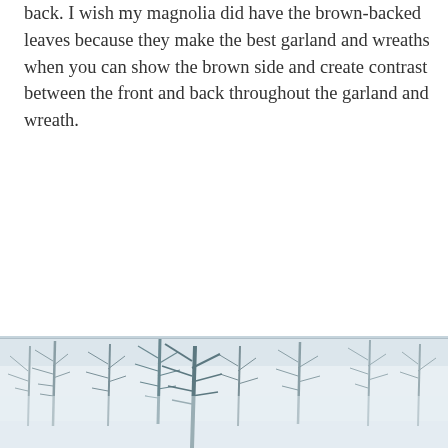back. I wish my magnolia did have the brown-backed leaves because they make the best garland and wreaths when you can show the brown side and create contrast between the front and back throughout the garland and wreath.
[Figure (photo): A winter outdoor scene showing bare trees covered in snow or frost against a white sky, with a misty, wintry landscape.]